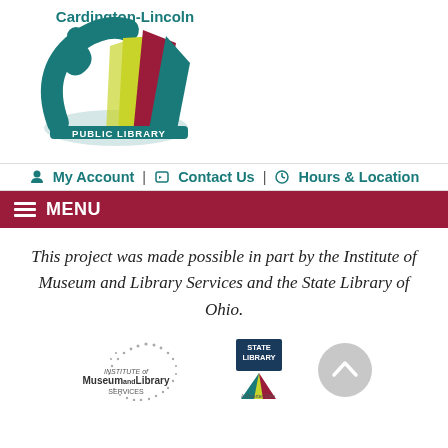[Figure (logo): Cardington-Lincoln Public Library logo with colorful fan/book shape and teal arc, text reading Cardington-Lincoln PUBLIC LIBRARY]
My Account | Contact Us | Hours & Location
MENU
This project was made possible in part by the Institute of Museum and Library Services and the State Library of Ohio.
[Figure (logo): Institute of Museum and Library Services logo (dotted star pattern with text)]
[Figure (logo): State Library logo (STATE LIBRARY with colorful book graphic)]
[Figure (other): Gray scroll-to-top circular button with upward chevron]